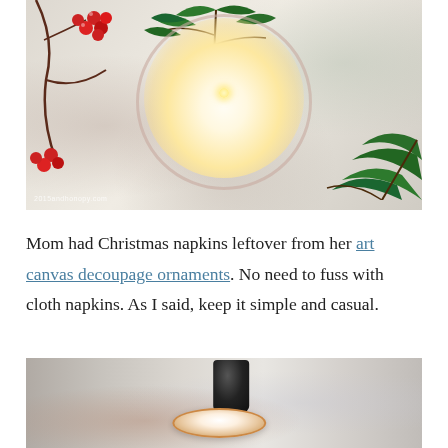[Figure (photo): Overhead view of a white candle in a glass/bowl surrounded by green foliage, red holly berries, and branches on a marble surface. A website watermark is visible in the lower left.]
Mom had Christmas napkins leftover from her art canvas decoupage ornaments. No need to fuss with cloth napkins. As I said, keep it simple and casual.
[Figure (photo): Partial view of a table setting showing a decorative plate with red and white pattern, stacked dishes, and blurred background with light tones.]